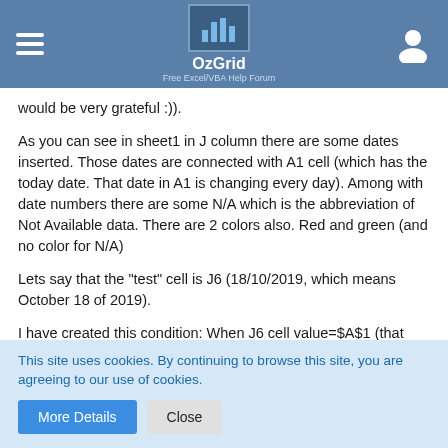OzGrid — Free Excel/VBA Help Forum
would be very grateful :)).
As you can see in sheet1 in J column there are some dates inserted. Those dates are connected with A1 cell (which has the today date. That date in A1 is changing every day). Among with date numbers there are some N/A which is the abbreviation of Not Available data. There are 2 colors also. Red and green (and no color for N/A)
Lets say that the "test" cell is J6 (18/10/2019, which means October 18 of 2019).
I have created this condition: When J6 cell value=$A$1 (that condition applies to the whole J column of course), the specific cell turns into "RED". For cell value>$A$1 the cell
This site uses cookies. By continuing to browse this site, you are agreeing to our use of cookies.
More Details   Close